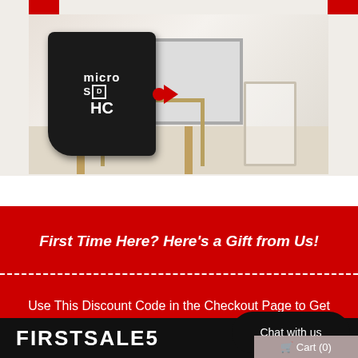[Figure (photo): Product photo showing a microSD HC memory card overlaid on a living room scene with a TV and white chair/table]
First Time Here? Here’s a Gift from Us!
Use This Discount Code in the Checkout Page to Get 5% Off your First Order:
FIRSTSALE5
Chat with us
Cart (0)